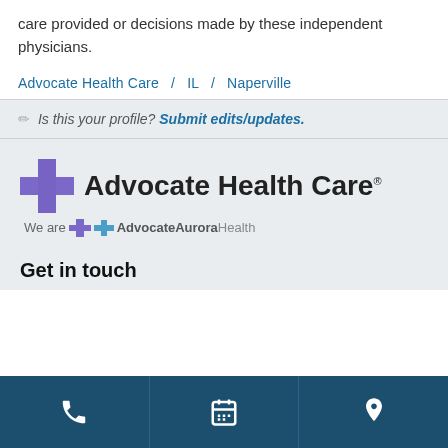care provided or decisions made by these independent physicians.
Advocate Health Care / IL / Naperville
Is this your profile? Submit edits/updates.
[Figure (logo): Advocate Health Care logo with purple cross icon and text 'Advocate Health Care', subtitle 'We are AdvocateAuroraHealth']
Get in touch
[Figure (infographic): Dark blue bottom bar with three icons: phone, calendar, and map pin]